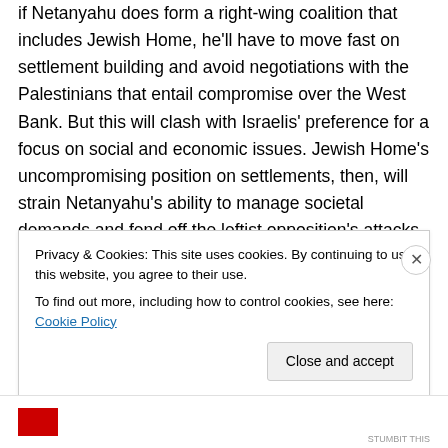if Netanyahu does form a right-wing coalition that includes Jewish Home, he'll have to move fast on settlement building and avoid negotiations with the Palestinians that entail compromise over the West Bank. But this will clash with Israelis' preference for a focus on social and economic issues. Jewish Home's uncompromising position on settlements, then, will strain Netanyahu's ability to manage societal demands and fend off the leftist opposition's attacks.
Depending on what the other far right parties—National Union, set to merge with Jewish Home, and Michael Ben...
Privacy & Cookies: This site uses cookies. By continuing to use this website, you agree to their use.
To find out more, including how to control cookies, see here: Cookie Policy